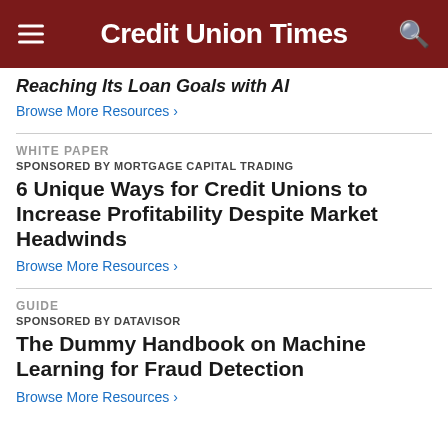Credit Union Times
Reaching Its Loan Goals with AI
Browse More Resources ›
WHITE PAPER
SPONSORED BY MORTGAGE CAPITAL TRADING
6 Unique Ways for Credit Unions to Increase Profitability Despite Market Headwinds
Browse More Resources ›
GUIDE
SPONSORED BY DATAVISOR
The Dummy Handbook on Machine Learning for Fraud Detection
Browse More Resources ›